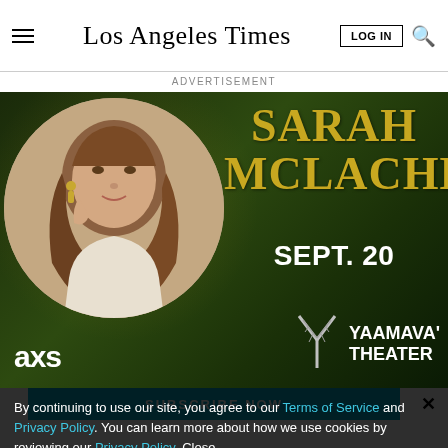Los Angeles Times
ADVERTISEMENT
[Figure (photo): Advertisement banner for Sarah McLachlan concert at Yaamava' Theater on Sept. 20. Features circular photo of Sarah McLachlan on dark green background with her name in gold serif text, event date in white, Yaamava' Theater logo, and AXS ticketing logo.]
SUBSCRIBE NOW
By continuing to use our site, you agree to our Terms of Service and Privacy Policy. You can learn more about how we use cookies by reviewing our Privacy Policy. Close